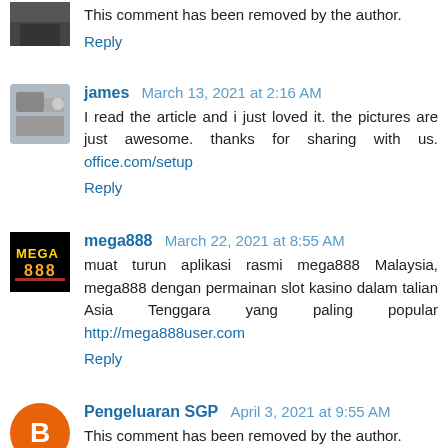This comment has been removed by the author.
Reply
james   March 13, 2021 at 2:16 AM
I read the article and i just loved it. the pictures are just awesome. thanks for sharing with us. office.com/setup
Reply
mega888   March 22, 2021 at 8:55 AM
muat turun aplikasi rasmi mega888 Malaysia, mega888 dengan permainan slot kasino dalam talian Asia Tenggara yang paling popular http://mega888user.com
Reply
Pengeluaran SGP   April 3, 2021 at 9:55 AM
This comment has been removed by the author.
Reply